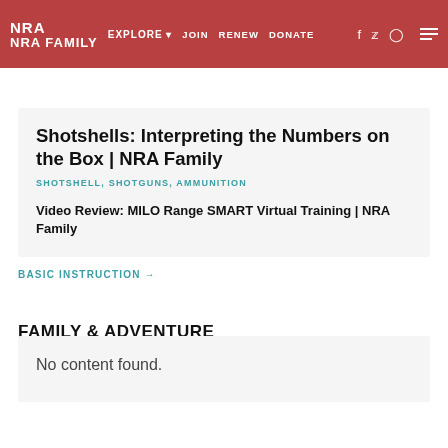NRA EXPLORE ▾  JOIN  RENEW  DONATE
Shotshells: Interpreting the Numbers on the Box | NRA Family
SHOTSHELL, SHOTGUNS, AMMUNITION
Video Review: MILO Range SMART Virtual Training | NRA Family
BASIC INSTRUCTION →
FAMILY & ADVENTURE
No content found.